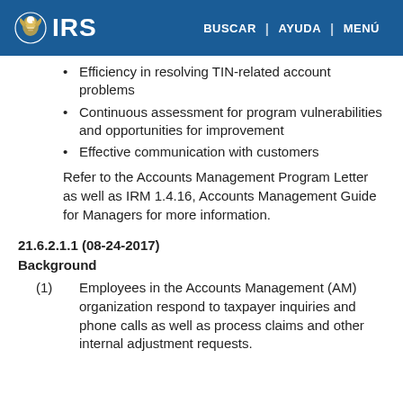IRS | BUSCAR | AYUDA | MENÚ
Efficiency in resolving TIN-related account problems
Continuous assessment for program vulnerabilities and opportunities for improvement
Effective communication with customers
Refer to the Accounts Management Program Letter as well as IRM 1.4.16, Accounts Management Guide for Managers for more information.
21.6.2.1.1 (08-24-2017)
Background
(1) Employees in the Accounts Management (AM) organization respond to taxpayer inquiries and phone calls as well as process claims and other internal adjustment requests.